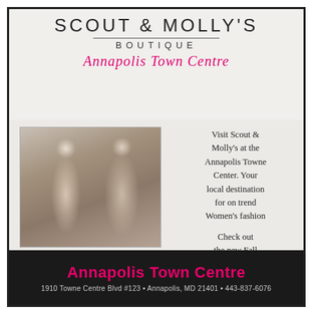SCOUT & MOLLY'S BOUTIQUE Annapolis Town Centre
[Figure (photo): Two women standing in a boutique store — Jane & Betsey Abraham, Mother/Daughter Co-Owners of Scout & Molly Boutique Annapolis]
Jane & Betsey Abraham; Mother/Daughter Co-Owners of Scout & Molly Boutique Annapolis
Visit Scout & Molly's at the Annapolis Towne Center. Your local destination for on trend Women's fashion
Check out the new Fall Collection featuring Joseph Ribikoff, Mauritius and more!
Annapolis Town Centre
1910 Towne Centre Blvd #123 • Annapolis, MD 21401 • 443-837-6076